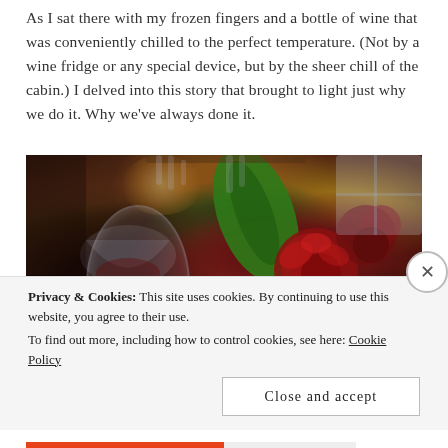As I sat there with my frozen fingers and a bottle of wine that was conveniently chilled to the perfect temperature. (Not by a wine fridge or any special device, but by the sheer chill of the cabin.) I delved into this story that brought to light just why we do it. Why we've always done it.
[Figure (photo): Interior photo of a cozy cabin dining setting, showing a wine glass in the foreground, red roses and dark red flowers, a green leaf, warm lamp light in the background, and wooden shelving with glassware.]
Privacy & Cookies: This site uses cookies. By continuing to use this website, you agree to their use. To find out more, including how to control cookies, see here: Cookie Policy